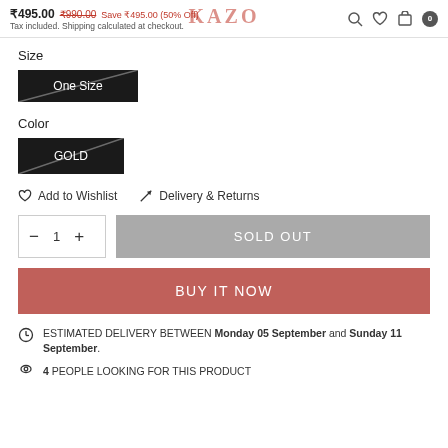₹495.00 ₹990.00 Save ₹495.00 (50% Off) Tax included. Shipping calculated at checkout. KAZO
Size
One Size
Color
GOLD
Add to Wishlist   Delivery & Returns
− 1 +   SOLD OUT
BUY IT NOW
ESTIMATED DELIVERY BETWEEN Monday 05 September and Sunday 11 September.
4 PEOPLE LOOKING FOR THIS PRODUCT